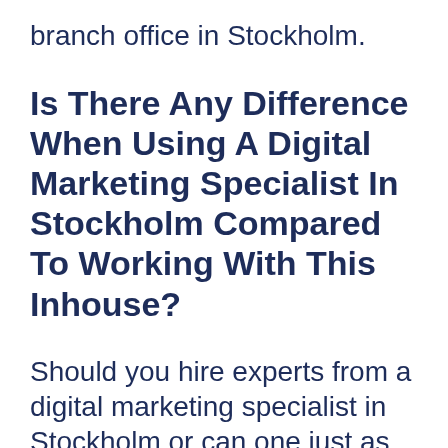branch office in Stockholm.
Is There Any Difference When Using A Digital Marketing Specialist In Stockholm Compared To Working With This Inhouse?
Should you hire experts from a digital marketing specialist in Stockholm or can one just as well